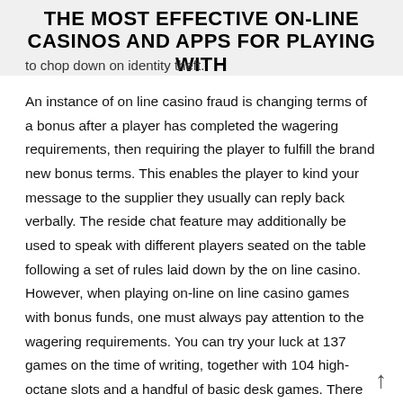THE MOST EFFECTIVE ON-LINE CASINOS AND APPS FOR PLAYING WITH
to chop down on identity theft.
An instance of on line casino fraud is changing terms of a bonus after a player has completed the wagering requirements, then requiring the player to fulfill the brand new bonus terms. This enables the player to kind your message to the supplier they usually can reply back verbally. The reside chat feature may additionally be used to speak with different players seated on the table following a set of rules laid down by the on line casino. However, when playing on-line on line casino games with bonus funds, one must always pay attention to the wagering requirements. You can try your luck at 137 games on the time of writing, together with 104 high-octane slots and a handful of basic desk games. There